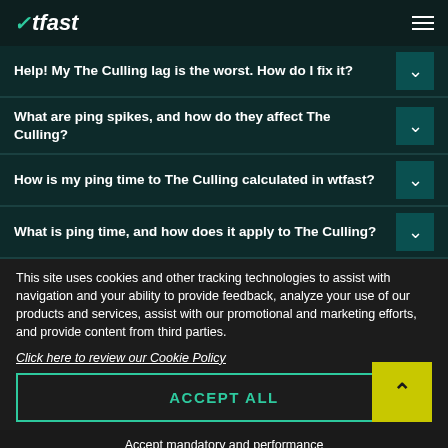wtfast
Help! My The Culling lag is the worst. How do I fix it?
What are ping spikes, and how do they affect The Culling?
How is my ping time to The Culling calculated in wtfast?
What is ping time, and how does it apply to The Culling?
This site uses cookies and other tracking technologies to assist with navigation and your ability to provide feedback, analyze your use of our products and services, assist with our promotional and marketing efforts, and provide content from third parties.
Click here to review our Cookie Policy
ACCEPT ALL
Accept mandatory and performance